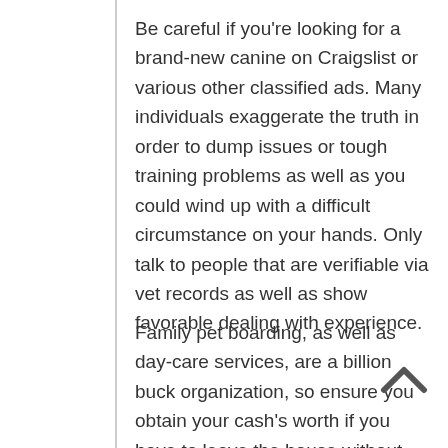Be careful if you're looking for a brand-new canine on Craigslist or various other classified ads. Many individuals exaggerate the truth in order to dump issues or tough training problems as well as you could wind up with a difficult circumstance on your hands. Only talk to people that are verifiable via vet records as well as show favorable dealing with experience.
Family pet boarding, as well as day-care services, are a billion buck organization, so ensure you obtain your cash's worth if you have to leave the house without your pet dog. Although kennels supply intriguing chances to socialize, your dog will certainly